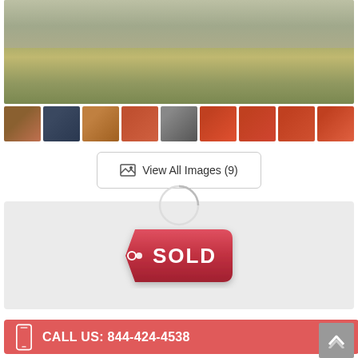[Figure (photo): Main large photo of a classic red car on grass, showing front/side view from elevated angle]
[Figure (photo): Thumbnail strip of 9 car photos showing various angles of a classic red car]
View All Images (9)
[Figure (illustration): SOLD tag/badge graphic in red with white bold text reading SOLD]
CALL US: 844-424-4538